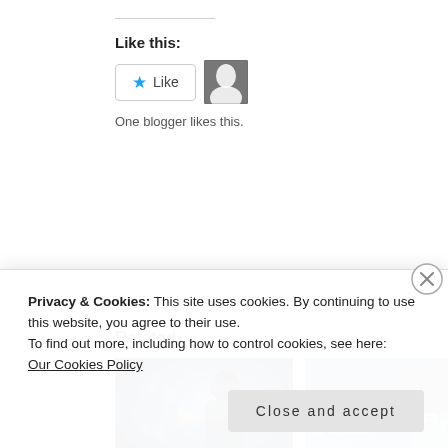Like this:
[Figure (screenshot): Like button with blue star icon and a blogger avatar thumbnail]
One blogger likes this.
Related
[Figure (photo): Person wearing VR headset with digital interface elements]
[Figure (photo): Image with text: COUNTING DAYS FOR MAY AND SUMMER IN GREECE]
Privacy & Cookies: This site uses cookies. By continuing to use this website, you agree to their use.
To find out more, including how to control cookies, see here: Our Cookies Policy
Close and accept